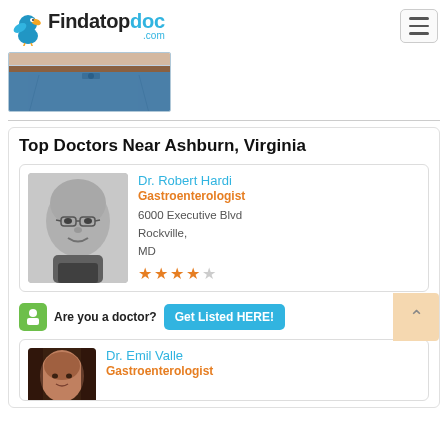Findatopdoc.com
[Figure (photo): Partial image of person wearing blue jeans, cropped at waist level]
Top Doctors Near Ashburn, Virginia
[Figure (photo): Black and white headshot of Dr. Robert Hardi, a bald man wearing glasses, smiling]
Dr. Robert Hardi
Gastroenterologist
6000 Executive Blvd
Rockville,
MD
★★★★☆
Are you a doctor? Get Listed HERE!
[Figure (photo): Color photo of Dr. Emil Valle]
Dr. Emil Valle
Gastroenterologist